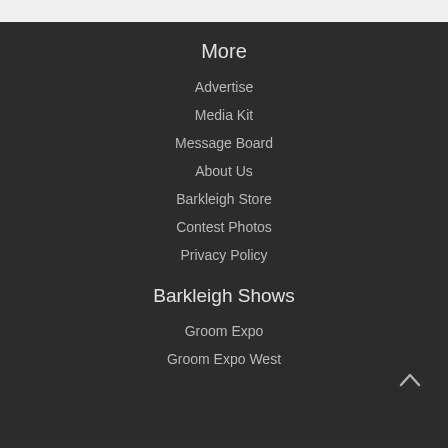More
Advertise
Media Kit
Message Board
About Us
Barkleigh Store
Contest Photos
Privacy Policy
Barkleigh Shows
Groom Expo
Groom Expo West